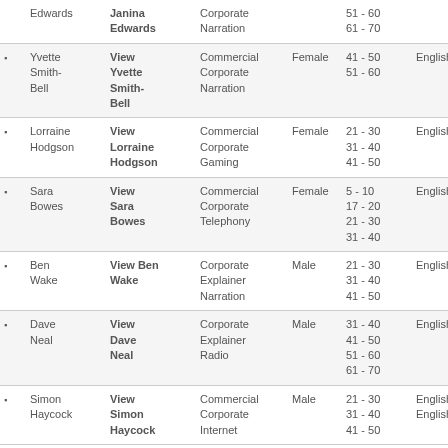|  | Name | View Profile | Voice Type | Gender | Age Range | Language |
| --- | --- | --- | --- | --- | --- | --- |
| • | Edwards | Janina Edwards | Corporate Narration |  | 51 - 60
61 - 70 |  |
| • | Yvette Smith-Bell | View Yvette Smith-Bell | Commercial Corporate Narration | Female | 41 - 50
51 - 60 | English (UK) |
| • | Lorraine Hodgson | View Lorraine Hodgson | Commercial Corporate Gaming | Female | 21 - 30
31 - 40
41 - 50 | English (UK) |
| • | Sara Bowes | View Sara Bowes | Commercial Corporate Telephony | Female | 5 - 10
17 - 20
21 - 30
31 - 40 | English (UK) |
| • | Ben Wake | View Ben Wake | Corporate Explainer Narration | Male | 21 - 30
31 - 40
41 - 50 | English (UK) |
| • | Dave Neal | View Dave Neal | Corporate Explainer Radio | Male | 31 - 40
41 - 50
51 - 60
61 - 70 | English (UK) |
| • | Simon Haycock | View Simon Haycock | Commercial Corporate Internet | Male | 21 - 30
31 - 40
41 - 50 | English (UK)
English (USA) |